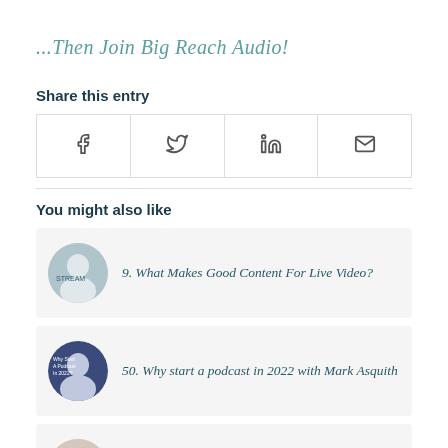...Then Join Big Reach Audio!
Share this entry
[Figure (other): Social sharing buttons: Facebook, Twitter, LinkedIn, Email]
You might also like
9. What Makes Good Content For Live Video?
50. Why start a podcast in 2022 with Mark Asquith
Why does video seem so